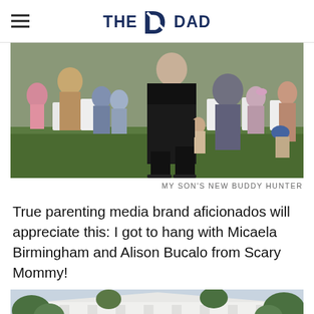THE DAD (logo)
[Figure (photo): Outdoor event photo showing adults and children seated on white chairs on a green lawn. A man in a black suit is walking in the foreground holding hands with a child. Multiple children and adults are visible in the background.]
MY SON'S NEW BUDDY HUNTER
True parenting media brand aficionados will appreciate this: I got to hang with Micaela Birmingham and Alison Bucalo from Scary Mommy!
[Figure (photo): Partial view of a white building with columns, resembling the White House, with green trees in front.]